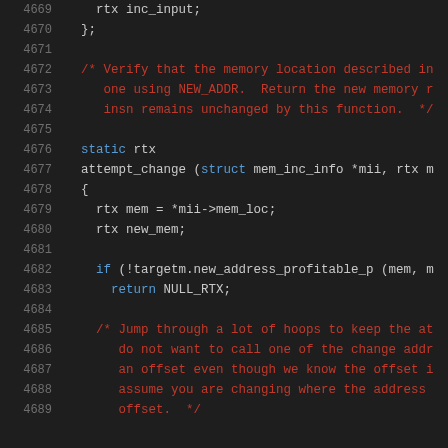[Figure (screenshot): Source code snippet showing C code lines 4669-4689 with line numbers on dark background. Code includes struct definition, comments, and function attempt_change with body.]